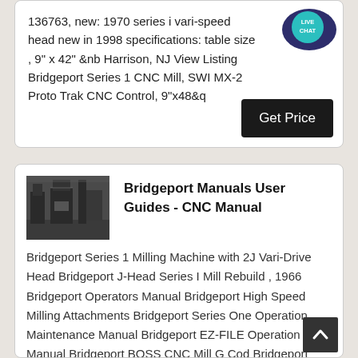136763, new: 1970 series i vari-speed head new in 1998 specifications: table size , 9" x 42" &nb Harrison, NJ View Listing Bridgeport Series 1 CNC Mill, SWI MX-2 Proto Trak CNC Control, 9"x48&q
[Figure (screenshot): Live Chat speech bubble icon in teal/dark blue]
Get Price
[Figure (photo): Industrial machinery / milling machine in a factory setting]
Bridgeport Manuals User Guides - CNC Manual
Bridgeport Series 1 Milling Machine with 2J Vari-Drive Head Bridgeport J-Head Series I Mill Rebuild , 1966 Bridgeport Operators Manual Bridgeport High Speed Milling Attachments Bridgeport Series One Operation Maintenance Manual Bridgeport EZ-FILE Operation Manual Bridgeport BOSS CNC Mill G Cod Bridgeport R2E4 CNC Operating Manual